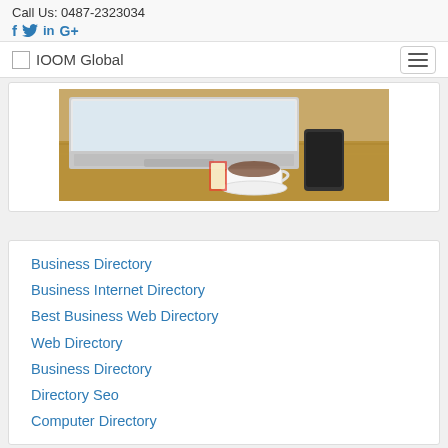Call Us: 0487-2323034
f  in G+
IOOM Global
[Figure (photo): Photo of a laptop on a wooden desk with a coffee cup and smartphone]
Business Directory
Business Internet Directory
Best Business Web Directory
Web Directory
Business Directory
Directory Seo
Computer Directory